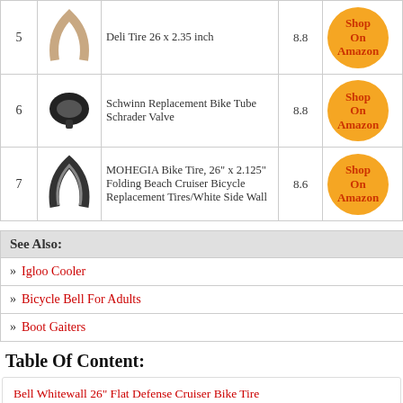| # | Image | Product | Score | Link |
| --- | --- | --- | --- | --- |
| 5 | [image] | Deli Tire 26 x 2.35 inch | 8.8 | Shop On Amazon |
| 6 | [image] | Schwinn Replacement Bike Tube Schrader Valve | 8.8 | Shop On Amazon |
| 7 | [image] | MOHEGIA Bike Tire, 26" x 2.125" Folding Beach Cruiser Bicycle Replacement Tires/White Side Wall | 8.6 | Shop On Amazon |
See Also:
Igloo Cooler
Bicycle Bell For Adults
Boot Gaiters
Table Of Content:
Bell Whitewall 26" Flat Defense Cruiser Bike Tire